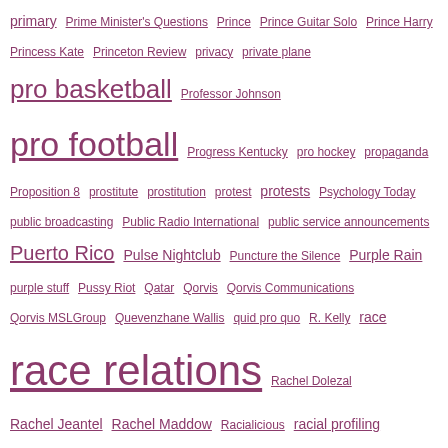primary Prime Minister's Questions Prince Prince Guitar Solo Prince Harry Princess Kate Princeton Review privacy private plane pro basketball Professor Johnson pro football Progress Kentucky pro hockey propaganda Proposition 8 prostitute prostitution protest protests Psychology Today public broadcasting Public Radio International public service announcements Puerto Rico Pulse Nightclub Puncture the Silence Purple Rain purple stuff Pussy Riot Qatar Qorvis Qorvis Communications Qorvis MSLGroup Quevenzhane Wallis quid pro quo R. Kelly race race relations Rachel Dolezal Rachel Jeantel Rachel Maddow Racialicious racial profiling racial profiling Germany racial slur racism racism valets racist radio Radio Times Radley Balko Rafael Cruz Rafael Ramos Raffi Williams Rage Against the Machine Raiderette Raising America Rakim Ralph Nader ralph northam Ramsay Bolton Randa Fahmy Randal Pinkett randolph allies Randolph County Randolph Macon Rand Paul rap rap brains rape rape culture rashida tlaib Raul Reyes Ray Nagin Raynard Jackson Ray Rice Ray Suarez Razzie Awards re-enactment reaction Renk Place See Rent Husband of Hollywood Rebecca Rana